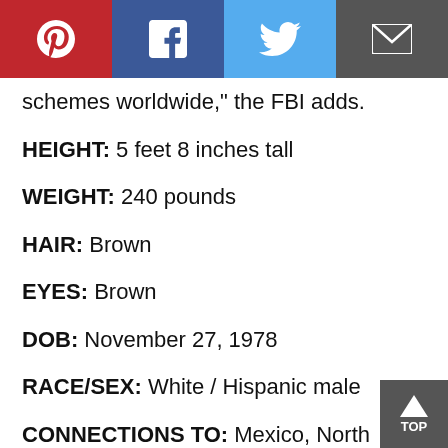[Figure (other): Social media sharing bar with Pinterest, Facebook, Twitter, and Email buttons]
schemes worldwide," the FBI adds.
HEIGHT: 5 feet 8 inches tall
WEIGHT: 240 pounds
HAIR: Brown
EYES: Brown
DOB: November 27, 1978
RACE/SEX: White / Hispanic male
CONNECTIONS TO: Mexico, North Hollywood, CA, Santa Ana, El Salvador
ALIASES: El Grenas de Stoners + Oso de Stoners
CHARACTERISTICS: The FBI says, "Lopez-Larios has numerous tattoos throughout his entire body."
Wanted for, according to the FBI: Conspiracy to Provide and Conceal Material Support and Resources to Terrorists; Conspiracy to Commit Acts of Terrorism Transcending